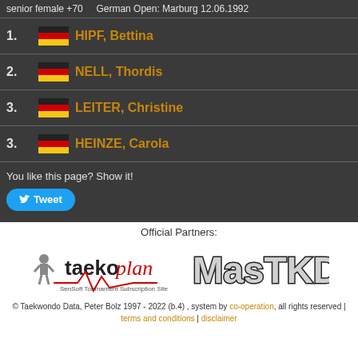senior female +70   German Open: Marburg 12.06.1992
1. HIPF, Bettina
2. NELL, Thordis
3. LEITER, Christine
3. HEINZE, Carola
You like this page? Show it!
Tweet
Official Partners:
[Figure (logo): taekoplan SenSoft Tournament Subscription Site logo]
[Figure (logo): MasTKD logo]
© Taekwondo Data, Peter Bolz 1997 - 2022 (b.4) , system by co-operation, all rights reserved | terms and conditions | disclaimer